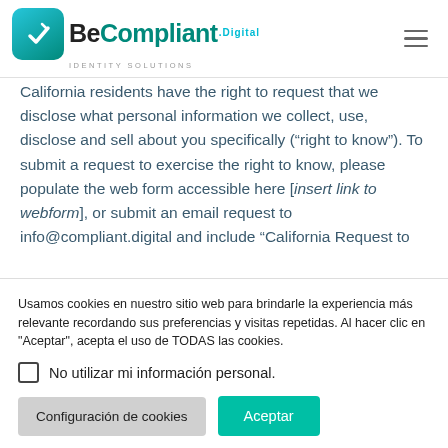[Figure (logo): BeCompliant.Digital Identity Solutions logo with teal/green square icon and wordmark]
California residents have the right to request that we disclose what personal information we collect, use, disclose and sell about you specifically (“right to know”). To submit a request to exercise the right to know, please populate the web form accessible here [insert link to webform], or submit an email request to info@compliant.digital and include “California Request to
Usamos cookies en nuestro sitio web para brindarle la experiencia más relevante recordando sus preferencias y visitas repetidas. Al hacer clic en "Aceptar", acepta el uso de TODAS las cookies.
No utilizar mi información personal.
Configuración de cookies | Aceptar